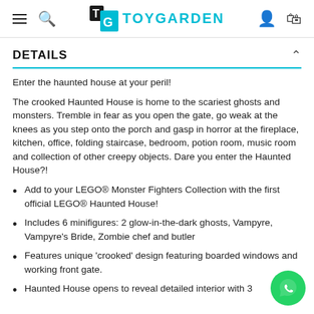TOYGARDEN
DETAILS
Enter the haunted house at your peril!
The crooked Haunted House is home to the scariest ghosts and monsters. Tremble in fear as you open the gate, go weak at the knees as you step onto the porch and gasp in horror at the fireplace, kitchen, office, folding staircase, bedroom, potion room, music room and collection of other creepy objects. Dare you enter the Haunted House?!
Add to your LEGO® Monster Fighters Collection with the first official LEGO® Haunted House!
Includes 6 minifigures: 2 glow-in-the-dark ghosts, Vampyre, Vampyre's Bride, Zombie chef and butler
Features unique 'crooked' design featuring boarded windows and working front gate.
Haunted House opens to reveal detailed interior with 3